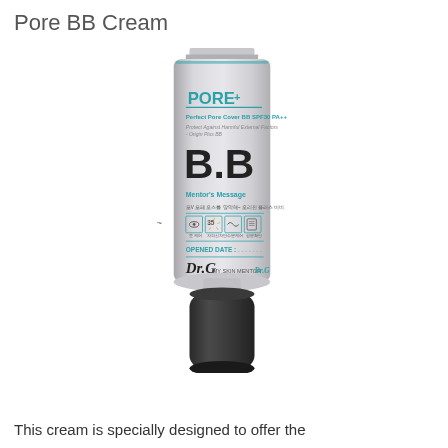Pore BB Cream
[Figure (photo): Dr.G Pore BB Cream tube product photo. Silver aluminum tube with black cap. Label reads: PORE+ Perfect Pore Cover BB SPF30 PA++, Protect Against Harmful External Factors - Origin Plus BB, B.B, Mentor's Message, icons including eye, 35 sun, wave, document icons, OPENED DATE, Dr.G MY SKIN MENTOR Dr.G branding.]
This cream is specially designed to offer the